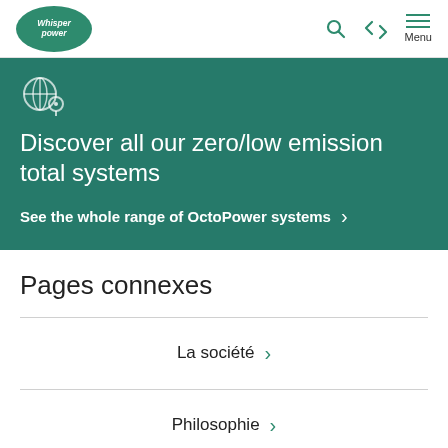Whisper Power — navigation header with logo, search, back, and menu icons
[Figure (screenshot): Teal promotional banner with icon and text: Discover all our zero/low emission total systems. See the whole range of OctoPower systems >]
Pages connexes
La société >
Philosophie >